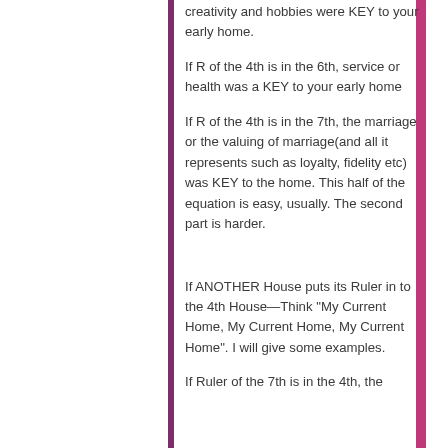creativity and hobbies were KEY to your early home.
If R of the 4th is in the 6th, service or health was a KEY to your early home
If R of the 4th is in the 7th, the marriage or the valuing of marriage(and all it represents such as loyalty, fidelity etc) was KEY to the home. This half of the equation is easy, usually. The second part is harder.
If ANOTHER House puts its Ruler in to the 4th House—Think "My Current Home, My Current Home, My Current Home". I will give some examples.
If Ruler of the 7th is in the 4th, the